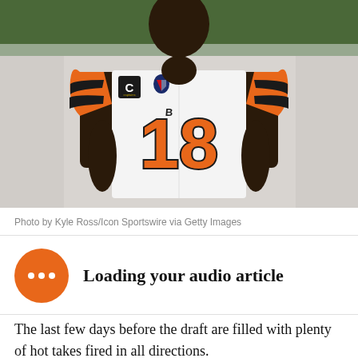[Figure (photo): NFL player wearing Cincinnati Bengals white jersey number 18 with orange and black accents, captain C patch visible, on field with green turf background]
Photo by Kyle Ross/Icon Sportswire via Getty Images
Loading your audio article
The last few days before the draft are filled with plenty of hot takes fired in all directions.